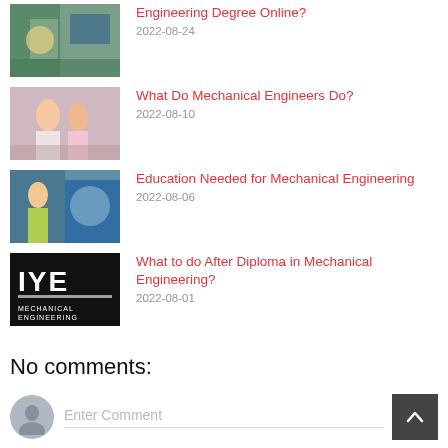[Figure (photo): Thumbnail image of workers in yellow vests with screen in background for article about Engineering Degree Online]
Engineering Degree Online?
2022-08-24
[Figure (photo): Thumbnail image of female students for article about What Do Mechanical Engineers Do]
What Do Mechanical Engineers Do?
2022-08-10
[Figure (photo): Thumbnail image of engineers in yellow vests for article about Education Needed for Mechanical Engineering]
Education Needed for Mechanical Engineering
2022-08-06
[Figure (logo): Mechanical Engineering logo (IYE) black background for article about What to do After Diploma in Mechanical Engineering]
What to do After Diploma in Mechanical Engineering?
2022-08-01
No comments:
Post a Comment
Enter Comment